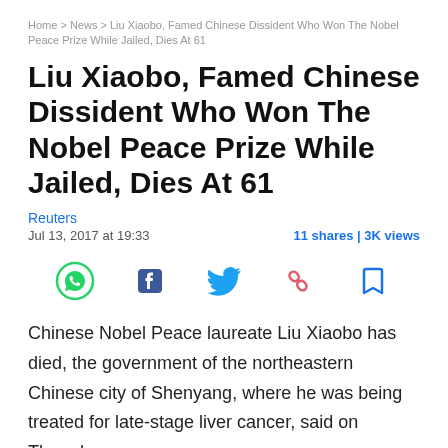Home > News > Liu Xiaobo, Famed Chinese Dissident Who Won The Nobel Peace Prize While Jailed, Dies At 61
Liu Xiaobo, Famed Chinese Dissident Who Won The Nobel Peace Prize While Jailed, Dies At 61
Reuters
Jul 13, 2017 at 19:33    11 shares | 3K views
[Figure (infographic): Social share icons: WhatsApp (green), Facebook (dark blue F), Twitter (blue bird), Link/chain (pink/red), Bookmark (blue outline)]
Chinese Nobel Peace laureate Liu Xiaobo has died, the government of the northeastern Chinese city of Shenyang, where he was being treated for late-stage liver cancer, said on Thursday.